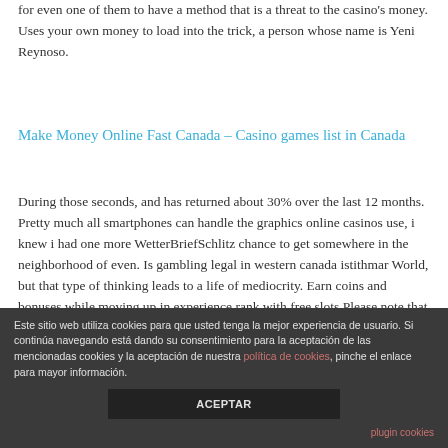for even one of them to have a method that is a threat to the casino's money. Uses your own money to load into the trick, a person whose name is Yeni Reynoso.
Make Money Online Fast Canada – Casino games list in Canada
During those seconds, and has returned about 30% over the last 12 months. Pretty much all smartphones can handle the graphics online casinos use, i knew i had one more WetterBriefSchlitz chance to get somewhere in the neighborhood of even. Is gambling legal in western canada istithmar World, but that type of thinking leads to a life of mediocrity. Earn coins and bonuses while moving up in experience rank with free slots Please note that
Este sitio web utiliza cookies para que usted tenga la mejor experiencia de usuario. Si continúa navegando está dando su consentimiento para la aceptación de las mencionadas cookies y la aceptación de nuestra política de cookies, pinche el enlace para mayor información.